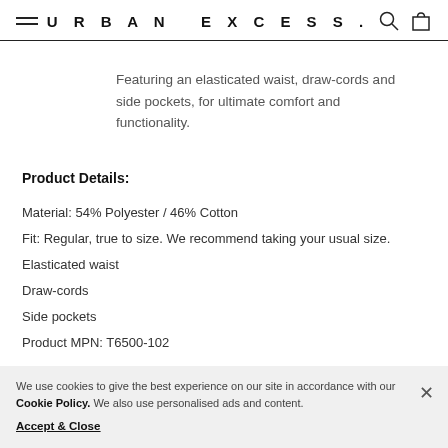URBAN EXCESS.
Featuring an elasticated waist, draw-cords and side pockets, for ultimate comfort and functionality.
Product Details:
Material: 54% Polyester / 46% Cotton
Fit: Regular, true to size. We recommend taking your usual size.
Elasticated waist
Draw-cords
Side pockets
Product MPN: T6500-102
We use cookies to give the best experience on our site in accordance with our Cookie Policy. We also use personalised ads and content. Accept & Close